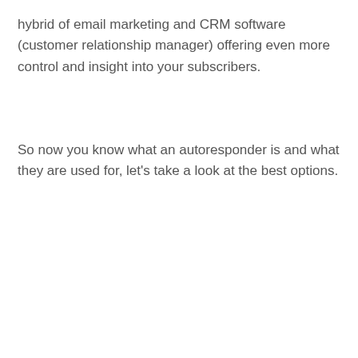hybrid of email marketing and CRM software (customer relationship manager) offering even more control and insight into your subscribers.
So now you know what an autoresponder is and what they are used for, let's take a look at the best options.
Click Here to download our 6 Figure Sales Funnel Cheatsheet PDF.